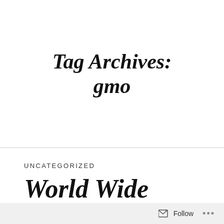Tag Archives: gmo
UNCATEGORIZED
World Wide Rally For Freedom
Follow